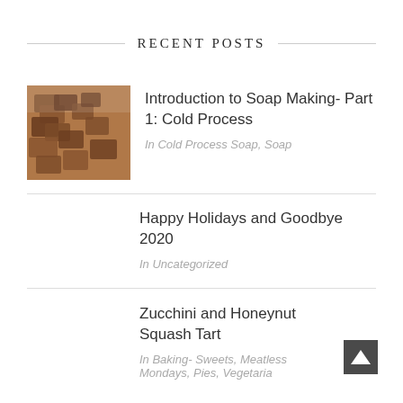RECENT POSTS
Introduction to Soap Making- Part 1: Cold Process
In Cold Process Soap, Soap
Happy Holidays and Goodbye 2020
In Uncategorized
Zucchini and Honeynut Squash Tart
In Baking- Sweets, Meatless Mondays, Pies, Vegetaria…